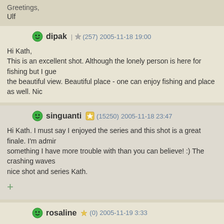Ulf
dipak | ☆ (257) 2005-11-18 19:00
Hi Kath,
This is an excellent shot. Although the lonely person is here for fishing but I gue the beautiful view. Beautiful place - one can enjoy fishing and place as well. Nic
singuanti ★ (15250) 2005-11-18 23:47
Hi Kath. I must say I enjoyed the series and this shot is a great finale. I'm admir something I have more trouble with than you can believe! :) The crashing waves nice shot and series Kath.
+
rosaline ★ (0) 2005-11-19 3:33
Kath
Nice colours, sharpness and POV. Good to see the horizon nice and clear as w looks pretty sad. I hope he didn't jump in!